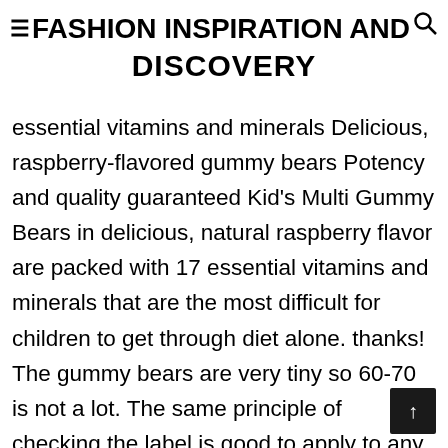≡ FASHION INSPIRATION AND DISCOVERY
FASHION INSPIRATION AND DISCOVERY
essential vitamins and minerals Delicious, raspberry-flavored gummy bears Potency and quality guaranteed Kid's Multi Gummy Bears in delicious, natural raspberry flavor are packed with 17 essential vitamins and minerals that are the most difficult for children to get through diet alone. thanks! The gummy bears are very tiny so 60-70 is not a lot. The same principle of checking the label is good to apply to any other food, as well. Gummi Bears – a candy classic since 1922. The Bunny Fruit Snacks are available in several flavors. Usually, it's obtained